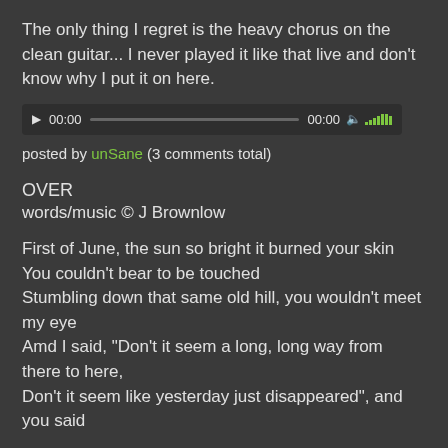The only thing I regret is the heavy chorus on the clean guitar... I never played it like that live and don't know why I put it on here.
[Figure (other): Audio player widget showing 00:00 timestamp and volume/waveform icon]
posted by unSane (3 comments total)
OVER
words/music © J Brownlow
First of June, the sun so bright it burned your skin
You couldn't bear to be touched
Stumbling down that same old hill, you wouldn't meet my eye
Amd I said, "Don't it seem a long, long way from there to here,
Don't it seem like yesterday just disappeared", and you said